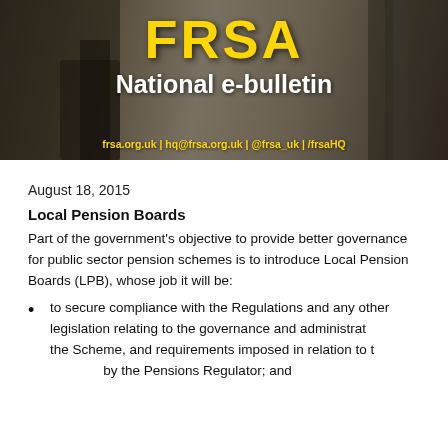[Figure (illustration): FRSA National e-bulletin banner with firefighter background image, yellow FRSA logo text, white 'National e-bulletin' subtitle, and yellow contact links at the bottom: frsa.org.uk | hq@frsa.org.uk | @frsa_uk | /frsaHQ]
August 18, 2015
Local Pension Boards
Part of the government's objective to provide better governance for public sector pension schemes is to introduce Local Pension Boards (LPB), whose job it will be:
to secure compliance with the Regulations and any other legislation relating to the governance and administration of the Scheme, and requirements imposed in relation to the Scheme by the Pensions Regulator; and